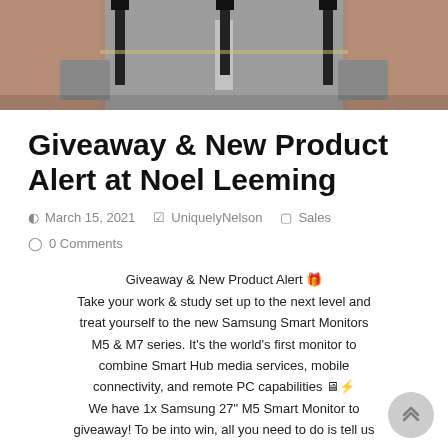[Figure (photo): Overhead or street-level photo of a road intersection with bollards/posts, seen from above at an angle, with a muted gray/brick color palette.]
Giveaway & New Product Alert at Noel Leeming
March 15, 2021   UniquelyNelson   Sales   0 Comments
Giveaway & New Product Alert 🎁
Take your work & study set up to the next level and treat yourself to the new Samsung Smart Monitors M5 & M7 series. It's the world's first monitor to combine Smart Hub media services, mobile connectivity, and remote PC capabilities 🖥⚡
We have 1x Samsung 27" M5 Smart Monitor to giveaway! To be into win, all you need to do is tell us